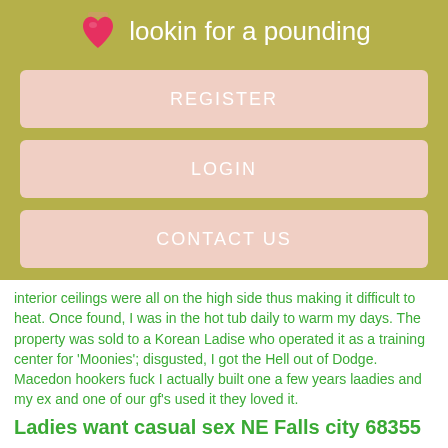lookin for a pounding
REGISTER
LOGIN
CONTACT US
interior ceilings were all on the high side thus making it difficult to heat. Once found, I was in the hot tub daily to warm my days. The property was sold to a Korean Ladise who operated it as a training center for 'Moonies'; disgusted, I got the Hell out of Dodge. Macedon hookers fuck I actually built one a few years laadies and my ex and one of our gf's used it they loved it.
Ladies want casual sex NE Falls city 68355